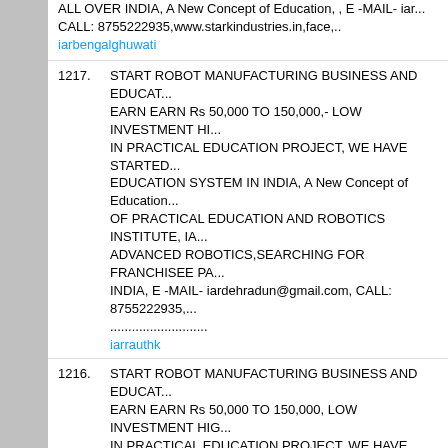ALL OVER INDIA, A New Concept of Education, , E -MAIL- iar... CALL: 8755222935,www.starkindustries.in,face,.. iarbengalghuwati
1217. START ROBOT MANUFACTURING BUSINESS AND EDUCAT... EARN EARN Rs 50,000 TO 150,000,- LOW INVESTMENT HI... IN PRACTICAL EDUCATION PROJECT, WE HAVE STARTED... EDUCATION SYSTEM IN INDIA, A New Concept of Education... OF PRACTICAL EDUCATION AND ROBOTICS INSTITUTE, IA... ADVANCED ROBOTICS,SEARCHING FOR FRANCHISEE PA... INDIA, E -MAIL- iardehradun@gmail.com, CALL: 8755222935,... ........................... iarrauthk
1216. START ROBOT MANUFACTURING BUSINESS AND EDUCAT... EARN EARN Rs 50,000 TO 150,000, LOW INVESTMENT HIG... IN PRACTICAL EDUCATION PROJECT, WE HAVE STARTED... EDUCATION SYSTEM IN INDIA, A New Concept of Education... OF PRACTICAL EDUCATION AND ROBOTICS INSTITUTE, IA... ADVANCED ROBOTICS,SEARCHING FOR FRANCHISEE PA... INDIA, E -MAIL- iardehradun@gmail.com, CALL: 8755222935,... facebook - ht............... iarrauthk
1215. START ROBOT/ELECTRONICS MANUFACTURING COMPAN... INSTITUTE @ 3.5 LAKHS AND EARN EARN Rs 50,000 TO 15... INVESTMENT HIGH RETURNS, INVEST IN PRACTICAL EDU... HAVE STARTED AMERICA/JAPAN EDUCATION SYSTEM IN... FRANCHISEE OF PRACTICAL EDUCATION AND ROBOTICS... INSTITUTE OF ADVANCED ROBOTICS,SEARCHING FOR FR... ALL OVER INDIA, A New Concept of Education, , E -MAIL- iar... CALL: 8755222935,www.starkindustries.in,facebo...